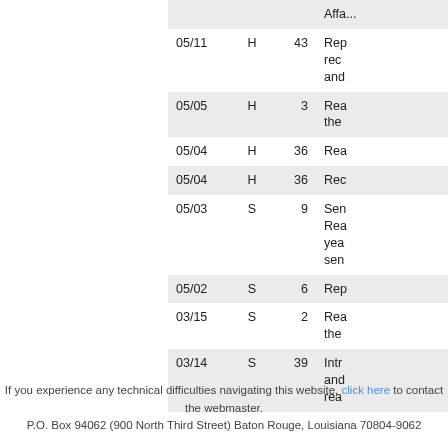|  |  |  | Affa... |
| --- | --- | --- | --- |
| 05/11 | H | 43 | Rep rec and |
| 05/05 | H | 3 | Rea the |
| 05/04 | H | 36 | Rea |
| 05/04 | H | 36 | Rec |
| 05/03 | S | 9 | Sen Rea yea sen |
| 05/02 | S | 6 | Rep |
| 03/15 | S | 2 | Rea the |
| 03/14 | S | 39 | Intr and rea |
If you experience any technical difficulties navigating this website, click here to contact the webmaster.
P.O. Box 94062 (900 North Third Street) Baton Rouge, Louisiana 70804-9062